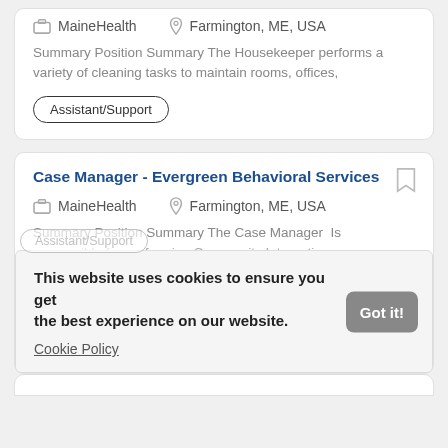MaineHealth   Farmington, ME, USA
Summary Position Summary The Housekeeper performs a variety of cleaning tasks to maintain rooms, offices,
Assistant/Support
Case Manager - Evergreen Behavioral Services
MaineHealth   Farmington, ME, USA
Summary Position Summary The Case Manager  Is responsible for performing Community Integration case
Assistant/Support
This website uses cookies to ensure you get the best experience on our website.
Cookie Policy
Got it!